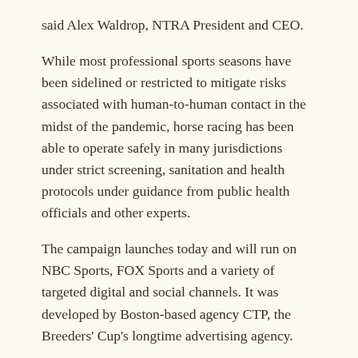said Alex Waldrop, NTRA President and CEO.
While most professional sports seasons have been sidelined or restricted to mitigate risks associated with human-to-human contact in the midst of the pandemic, horse racing has been able to operate safely in many jurisdictions under strict screening, sanitation and health protocols under guidance from public health officials and other experts.
The campaign launches today and will run on NBC Sports, FOX Sports and a variety of targeted digital and social channels. It was developed by Boston-based agency CTP, the Breeders' Cup's longtime advertising agency.
For more information visit AmericasBestRacing.net/Strong.